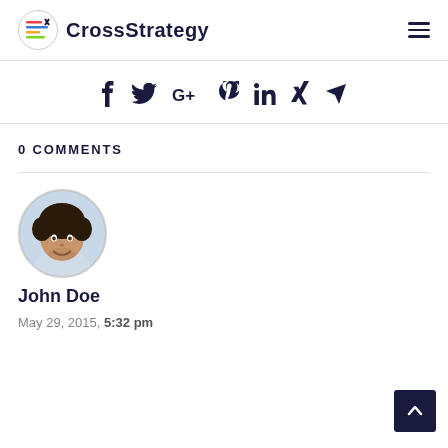CrossStrategy
f  G+  in  (social share icons)
0 COMMENTS
[Figure (photo): Round avatar photo of a smiling man with curly dark hair]
John Doe
May 29, 2015, 5:32 pm